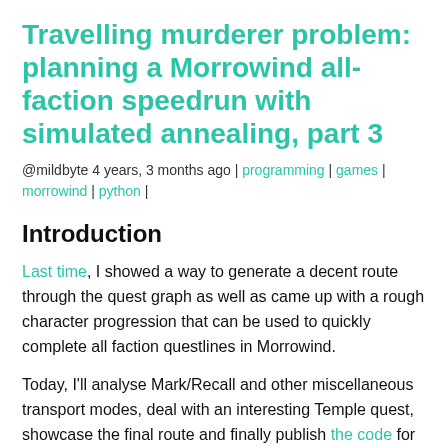Travelling murderer problem: planning a Morrowind all-faction speedrun with simulated annealing, part 3
@mildbyte 4 years, 3 months ago | programming | games | morrowind | python |
Introduction
Last time, I showed a way to generate a decent route through the quest graph as well as came up with a rough character progression that can be used to quickly complete all faction questlines in Morrowind.
Today, I'll analyse Mark/Recall and other miscellaneous transport modes, deal with an interesting Temple quest, showcase the final route and finally publish the code for the route planner.